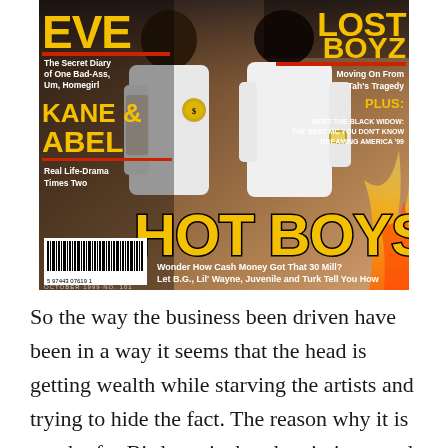[Figure (photo): Magazine cover featuring HOT BOYS with text overlays including EVE, LOST BOYZ, KANE & ABEL, and article headlines. Two men in white tank tops are shown. Large yellow text reads HOT BOYS with subheading about Cash Money getting 30 Mill.]
So the way the business been driven have been in a way it seems that the head is getting wealth while starving the artists and trying to hide the fact. The reason why it is touchy for Birdman is that the gig is up and he can't hide